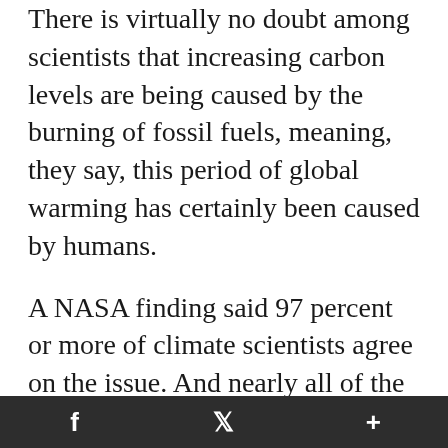There is virtually no doubt among scientists that increasing carbon levels are being caused by the burning of fossil fuels, meaning, they say, this period of global warming has certainly been caused by humans.
A NASA finding said 97 percent or more of climate scientists agree on the issue. And nearly all of the world's leading science organizations have released public statements expressing their agreement with the scientific consensus.
It's an issue U.S government officials from
f  🐦  +